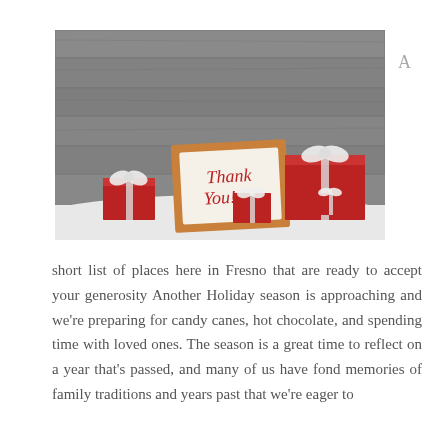[Figure (photo): Black and white photo of red Christmas gift boxes with white ribbon bows arranged in snow against a wooden plank background, with a wooden picture frame in the center displaying 'Thank You!' written in red cursive text.]
short list of places here in Fresno that are ready to accept your generosity Another Holiday season is approaching and we're preparing for candy canes, hot chocolate, and spending time with loved ones. The season is a great time to reflect on a year that's passed, and many of us have fond memories of family traditions and years past that we're eager to